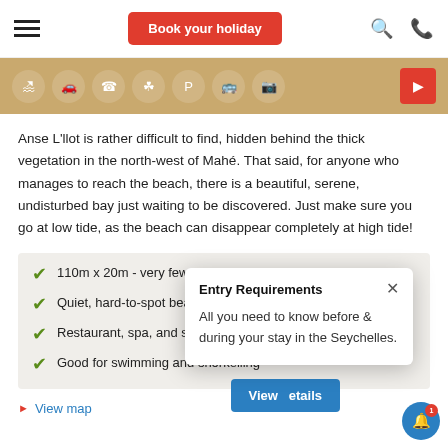[Figure (screenshot): Top navigation bar with hamburger menu, red 'Book your holiday' button, search and phone icons]
[Figure (screenshot): Icon strip with activity icons on tan/khaki background and red play button on right]
Anse L'llot is rather difficult to find, hidden behind the thick vegetation in the north-west of Mahé. That said, for anyone who manages to reach the beach, there is a beautiful, serene, undisturbed bay just waiting to be discovered. Just make sure you go at low tide, as the beach can disappear completely at high tide!
110m x 20m - very few visitors
Quiet, hard-to-spot beach on Mahé
Restaurant, spa, and small shops o...
Good for swimming and snorkelling
View map
[Figure (screenshot): Popup dialog: Entry Requirements - All you need to know before & during your stay in the Seychelles.]